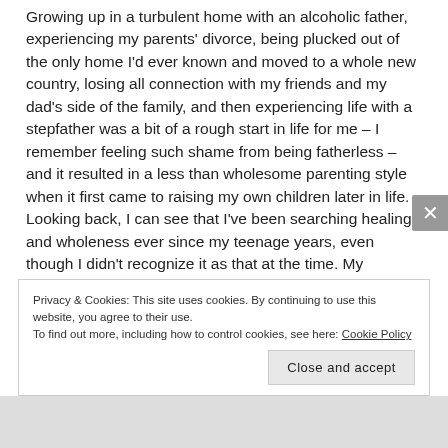Growing up in a turbulent home with an alcoholic father, experiencing my parents' divorce, being plucked out of the only home I'd ever known and moved to a whole new country, losing all connection with my friends and my dad's side of the family, and then experiencing life with a stepfather was a bit of a rough start in life for me – I remember feeling such shame from being fatherless – and it resulted in a less than wholesome parenting style when it first came to raising my own children later in life. Looking back, I can see that I've been searching healing and wholeness ever since my teenage years, even though I didn't recognize it as that at the time. My mother's extended family here in Trinidad were of strong Christian faith and
Privacy & Cookies: This site uses cookies. By continuing to use this website, you agree to their use. To find out more, including how to control cookies, see here: Cookie Policy
Close and accept